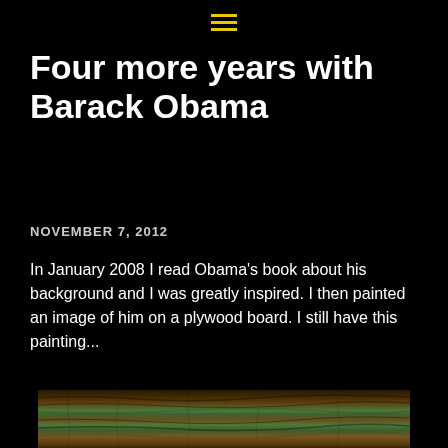☰
Four more years with Barack Obama
NOVEMBER 7, 2012
In January 2008 I read Obama's book about his background and I was greatly inspired. I then painted an image of him on a plywood board. I still have this painting...
[Figure (photo): Photo of a painted plywood board showing wood grain with green and brown tones, depicting a painting of Barack Obama on wood]